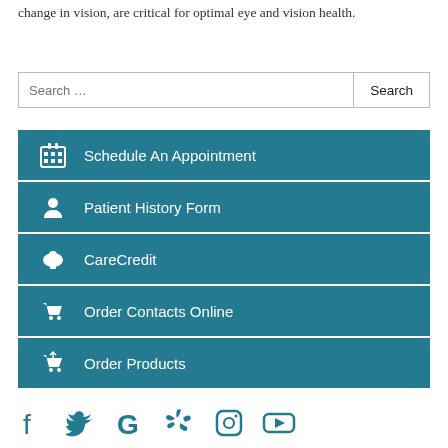change in vision, are critical for optimal eye and vision health.
Schedule An Appointment
Patient History Form
CareCredit
Order Contacts Online
Order Products
[Figure (infographic): Social media icons: Facebook, Twitter, Google, Yelp, Instagram, YouTube — all in teal color]